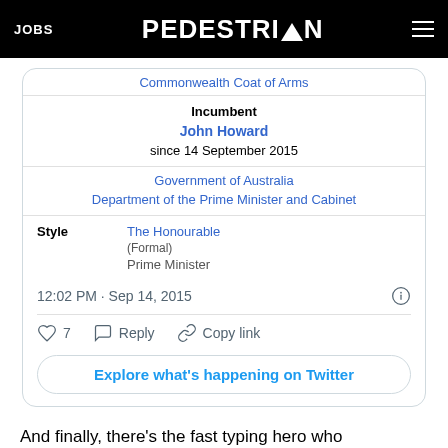JOBS | PEDESTRIAN | [hamburger menu]
[Figure (screenshot): Screenshot of a Twitter/X post showing a Wikipedia infobox snippet for an Australian government position. The infobox shows: Commonwealth Coat of Arms, Incumbent: John Howard, since 14 September 2015, Government of Australia, Department of the Prime Minister and Cabinet, Style: The Honourable (Formal), Prime Minister. Tweet timestamp: 12:02 PM · Sep 14, 2015. 7 likes. Actions: Reply, Copy link. Button: Explore what's happening on Twitter.]
And finally, there's the fast typing hero who thoughtfully